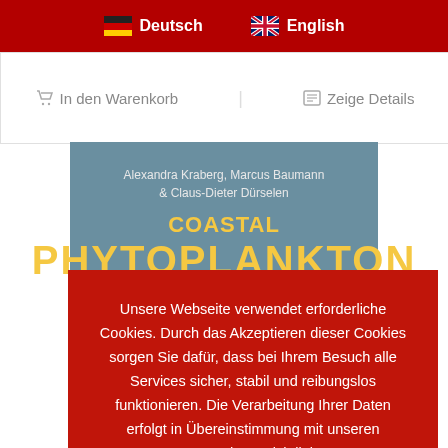Deutsch | English
In den Warenkorb | Zeige Details
[Figure (screenshot): Book cover for 'Coastal Phytoplankton' by Alexandra Kraberg, Marcus Baumann & Claus-Dieter Dürselen. Blue-grey background with yellow title text.]
Unsere Webseite verwendet erforderliche Cookies. Durch das Akzeptieren dieser Cookies sorgen Sie dafür, dass bei Ihrem Besuch alle Services sicher, stabil und reibungslos funktionieren. Die Verarbeitung Ihrer Daten erfolgt in Übereinstimmung mit unseren Datenschutz-Richtlinien
Akzeptieren | Ablehnen | Einstellungen